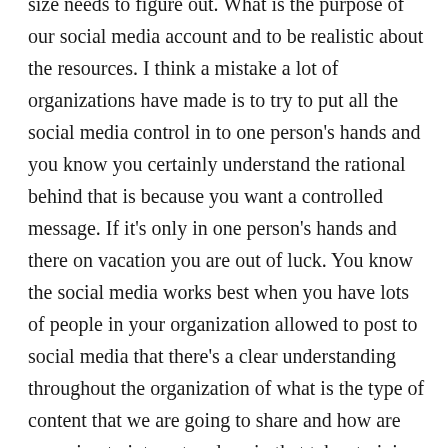size needs to figure out. What is the purpose of our social media account and to be realistic about the resources. I think a mistake a lot of organizations have made is to try to put all the social media control in to one person's hands and you know you certainly understand the rational behind that is because you want a controlled message. If it's only in one person's hands and there on vacation you are out of luck. You know the social media works best when you have lots of people in your organization allowed to post to social media that there's a clear understanding throughout the organization of what is the type of content that we are going to share and how are we going to interact and again that takes training, that takes time. If the end result is better policing, a safer community then it certainly seems worth it. The very beginning you have to decide what resources do we have that we can put towards this effort and what is our goal. Is our goal to reach youth? Well then we are going to have a very different strategy then if our goal is to communicate crisis.